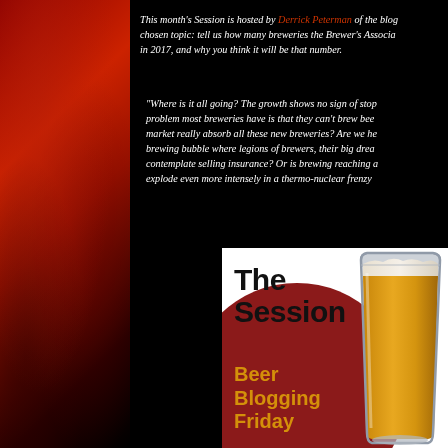This month's Session is hosted by Derrick Peterman of the blog [cut off] chosen topic: tell us how many breweries the Brewer's Associa[tion will count] in 2017, and why you think it will be that number.
"Where is it all going? The growth shows no sign of stop[ping. The] problem most breweries have is that they can't brew bee[r fast enough. Can the] market really absorb all these new breweries? Are we he[ading for a craft] brewing bubble where legions of brewers, their big drea[ms shattered,] contemplate selling insurance? Or is brewing reaching a[n inflection point to] explode even more intensely in a thermo-nuclear frenzy [of hops?]"
[Figure (illustration): The Session Beer Blogging Friday logo with a beer glass illustration and red circle background]